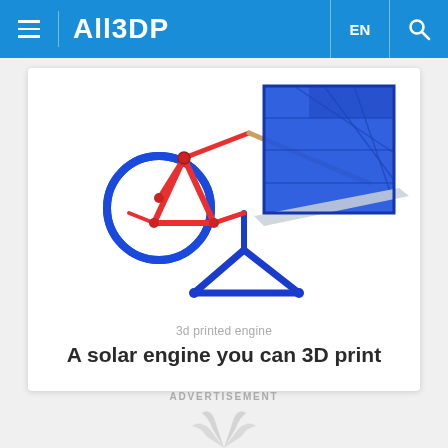All3DP
[Figure (photo): A 3D printed solar engine model with blue and red parts including a triangular blue panel, red mechanical linkage, blue circular wheel, and blue tripod base stand on white background]
3d printed engine
A solar engine you can 3D print
ADVERTISEMENT